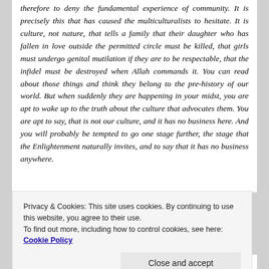therefore to deny the fundamental experience of community. It is precisely this that has caused the multiculturalists to hesitate. It is culture, not nature, that tells a family that their daughter who has fallen in love outside the permitted circle must be killed, that girls must undergo genital mutilation if they are to be respectable, that the infidel must be destroyed when Allah commands it. You can read about those things and think they belong to the pre-history of our world. But when suddenly they are happening in your midst, you are apt to wake up to the truth about the culture that advocates them. You are apt to say, that is not our culture, and it has no business here. And you will probably be tempted to go one stage further, the stage that the Enlightenment naturally invites, and to say that it has no business anywhere.
Privacy & Cookies: This site uses cookies. By continuing to use this website, you agree to their use.
To find out more, including how to control cookies, see here: Cookie Policy
festivals. But we have a shared civic culture, a shared language